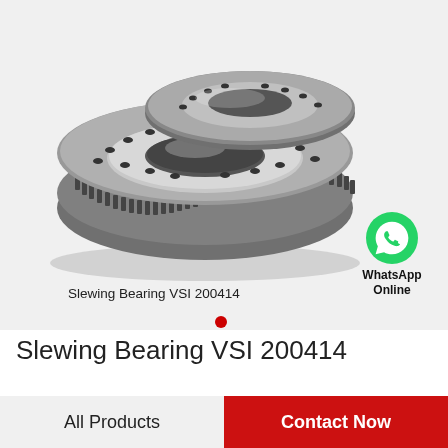[Figure (photo): Slewing ring bearing VSI 200414 – a large circular steel slewing ring with external gear teeth and bolt holes, shown at an angle on a light grey background.]
[Figure (logo): Green WhatsApp phone icon with the text 'WhatsApp Online' below it.]
Slewing Bearing VSI 200414
Slewing Bearing VSI 200414
All Products
Contact Now